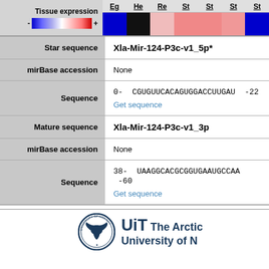[Figure (infographic): Tissue expression legend with color gradient bar (blue negative to red positive) and tissue column headers (Eg, He, Re, St, St, St, St) with colored swatches below]
| Field | Value |
| --- | --- |
| Star sequence | Xla-Mir-124-P3c-v1_5p* |
| mirBase accession | None |
| Sequence | 0-  CGUGUUCACAGUGGACCUUGAU  -22
Get sequence |
| Mature sequence | Xla-Mir-124-P3c-v1_3p |
| mirBase accession | None |
| Sequence | 38-  UAAGGCACGCGGUGAAUGCCAA  -60
Get sequence |
[Figure (logo): UiT The Arctic University of Norway logo with circular emblem and bold text]